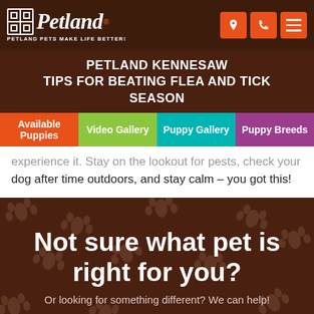Petland — PETLAND PETS MAKE LIFE BETTER!
PETLAND KENNESAW
TIPS FOR BEATING FLEA AND TICK SEASON
Available Puppies
Video Gallery
Puppy Gallery
Puppy Breeds
experience it. Stay on the lookout for pests, check your dog after time outdoors, and stay calm – you got this!
Not sure what pet is right for you?
Or looking for something different? We can help!